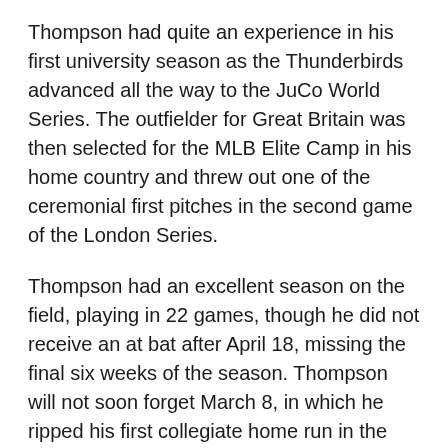Thompson had quite an experience in his first university season as the Thunderbirds advanced all the way to the JuCo World Series. The outfielder for Great Britain was then selected for the MLB Elite Camp in his home country and threw out one of the ceremonial first pitches in the second game of the London Series.
Thompson had an excellent season on the field, playing in 22 games, though he did not receive an at bat after April 18, missing the final six weeks of the season. Thompson will not soon forget March 8, in which he ripped his first collegiate home run in the second game of a doubleheader against El Paso Community College, also collecting a single, a walk, and his first steal. It was one of five two-hit games, with a pair coming in a twinbill against Luna Community College on March 30.